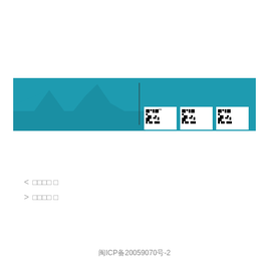[Figure (logo): Teal/blue banner with a stylized mountain/peak logo on the left side and three QR codes on the right side against a teal background.]
< □□□□ □
> □□□□ □
闽ICP备20059070号-2